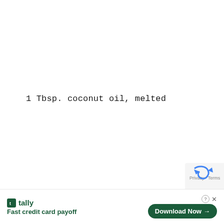1 Tbsp. coconut oil, melted
1/2 tsp. cinnamon
1 Tbsp. ground flaxseed
[Figure (other): reCAPTCHA widget partially visible in bottom right corner]
tally Fast credit card payoff  Download Now →